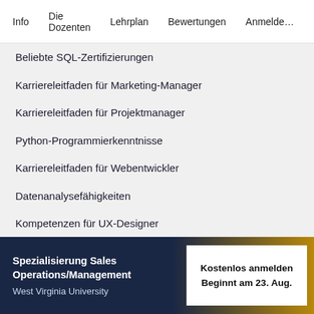Info   Die Dozenten   Lehrplan   Bewertungen   Anmelden
Beliebte SQL-Zertifizierungen
Karriereleitfaden für Marketing-Manager
Karriereleitfaden für Projektmanager
Python-Programmierkenntnisse
Karriereleitfaden für Webentwickler
Datenanalysefähigkeiten
Kompetenzen für UX-Designer
Spezialisierung Sales Operations/Management
West Virginia University
Kostenlos anmelden
Beginnt am 23. Aug.